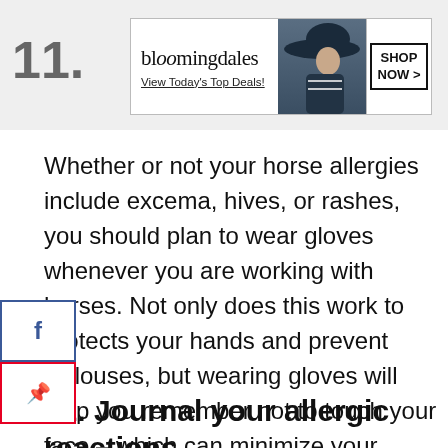11.
[Figure (photo): Bloomingdale's advertisement banner with logo, 'View Today's Top Deals!' tagline, photo of woman in hat, and 'SHOP NOW >' button]
Whether or not your horse allergies include excema, hives, or rashes, you should plan to wear gloves whenever you are working with horses. Not only does this work to protects your hands and prevent callouses, but wearing gloves will help you remember not to touch your face – which can minimize your exposure to allergens.
12. Journal your allergic reactions to horses on your phone